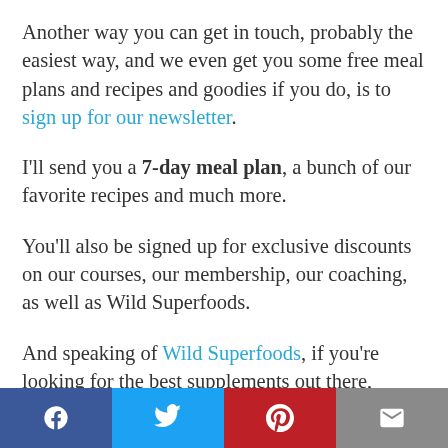Another way you can get in touch, probably the easiest way, and we even get you some free meal plans and recipes and goodies if you do, is to sign up for our newsletter.
I'll send you a 7-day meal plan, a bunch of our favorite recipes and much more.
You'll also be signed up for exclusive discounts on our courses, our membership, our coaching, as well as Wild Superfoods.
And speaking of Wild Superfoods, if you're looking for the best supplements out there,
Facebook | Twitter | Pinterest | Email